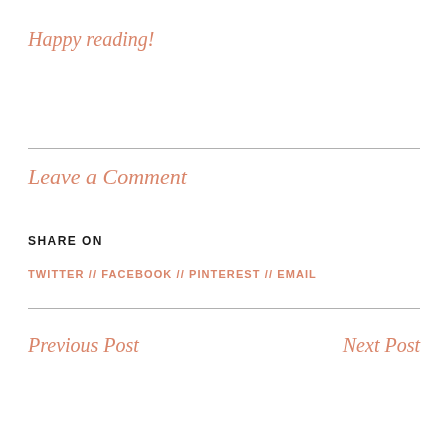Happy reading!
Leave a Comment
SHARE ON
TWITTER // FACEBOOK // PINTEREST // EMAIL
Previous Post
Next Post